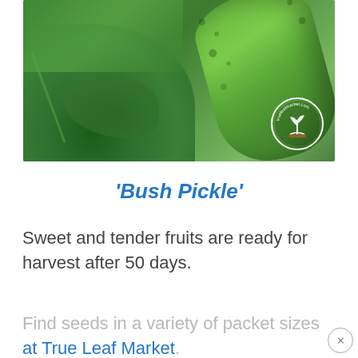[Figure (photo): Close-up photo of green cucumber and large leaf with trueleafmarket.com logo watermark in bottom right corner]
‘Bush Pickle’
Sweet and tender fruits are ready for harvest after 50 days.
Find seeds in a variety of packet sizes at True Leaf Market.